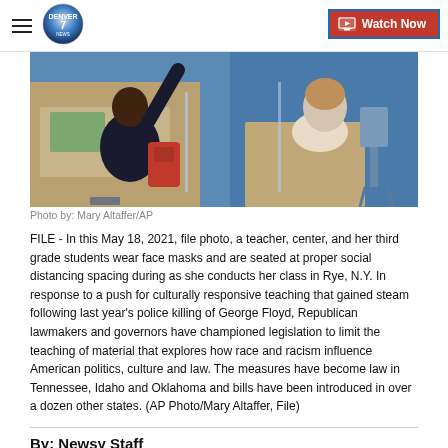Denver7 — Watch Now
[Figure (photo): Overhead view of a classroom showing two students at desks with plexiglass dividers wearing face masks, one raising their hand with a red backpack nearby.]
Photo by: Mary Altaffer/AP
FILE - In this May 18, 2021, file photo, a teacher, center, and her third grade students wear face masks and are seated at proper social distancing spacing during as she conducts her class in Rye, N.Y. In response to a push for culturally responsive teaching that gained steam following last year's police killing of George Floyd, Republican lawmakers and governors have championed legislation to limit the teaching of material that explores how race and racism influence American politics, culture and law. The measures have become law in Tennessee, Idaho and Oklahoma and bills have been introduced in over a dozen other states. (AP Photo/Mary Altaffer, File)
By: Newsy Staff
Posted at 6:30 PM, Jun 11, 2021 and last updated 12:51 AM, Jun 12, 2021